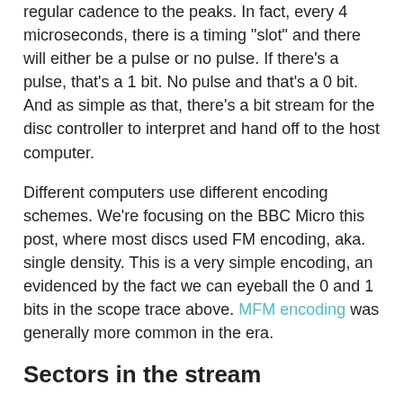regular cadence to the peaks. In fact, every 4 microseconds, there is a timing "slot" and there will either be a pulse or no pulse. If there's a pulse, that's a 1 bit. No pulse and that's a 0 bit. And as simple as that, there's a bit stream for the disc controller to interpret and hand off to the host computer.
Different computers use different encoding schemes. We're focusing on the BBC Micro this post, where most discs used FM encoding, aka. single density. This is a very simple encoding, an evidenced by the fact we can eyeball the 0 and 1 bits in the scope trace above. MFM encoding was generally more common in the era.
Sectors in the stream
The disc controller takes the pulse stream and makes sense of it. As mentioned above, in FM (sometimes called DFM) encoding, each pulse or non-pulse represents a 1 or 0 bit. These bits are a mix of clock bits and actual data bits. Clock bits are needed for a couple of reasons: as a source of timing to sync to, and also to prevent the disc drive from thinking it has lost the signal. There must be a pulse at least